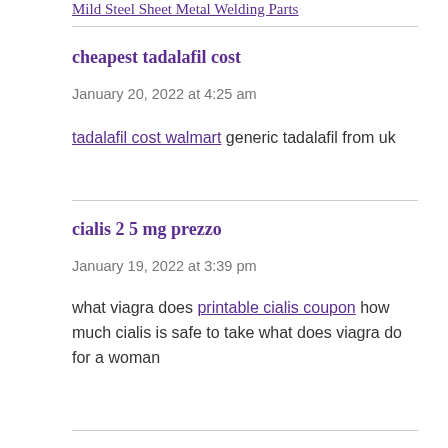Mild Steel Sheet Metal Welding Parts
cheapest tadalafil cost
January 20, 2022 at 4:25 am
tadalafil cost walmart generic tadalafil from uk
cialis 2 5 mg prezzo
January 19, 2022 at 3:39 pm
what viagra does printable cialis coupon how much cialis is safe to take what does viagra do for a woman